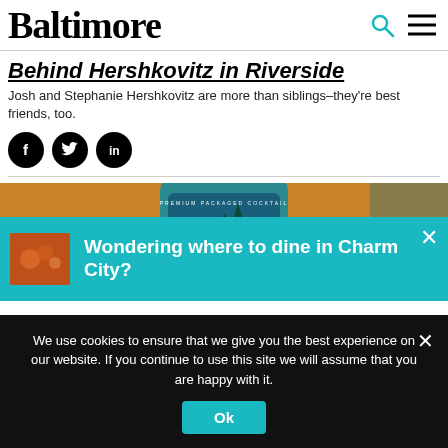Baltimore
Behind Hershkovitz in Riverside
Josh and Stephanie Hershkovitz are more than siblings–they're best friends, too.
[Figure (photo): Social media share icons: Facebook, Twitter, LinkedIn]
[Figure (photo): Photo of a Dry Fly branded bottle with teal label showing trees and mountains, on warm orange background]
Wondering where to dine in Charm City?
We use cookies to ensure that we give you the best experience on our website. If you continue to use this site we will assume that you are happy with it.